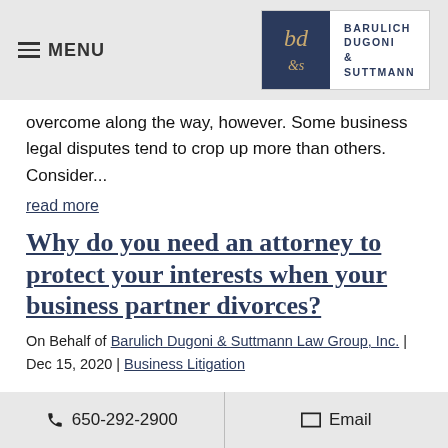MENU | BARULICH DUGONI & SUTTMANN
overcome along the way, however. Some business legal disputes tend to crop up more than others. Consider...
read more
Why do you need an attorney to protect your interests when your business partner divorces?
On Behalf of Barulich Dugoni & Suttmann Law Group, Inc. | Dec 15, 2020 | Business Litigation
650-292-2900 | Email